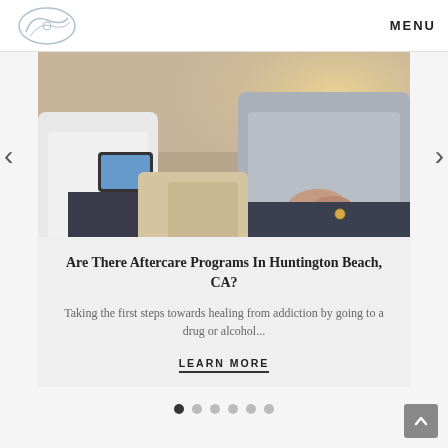MENU
[Figure (photo): Two people sitting on a sofa, one appears to be a healthcare professional holding a tablet, the other is a patient with hands clasped together in a counseling session setting.]
Are There Aftercare Programs In Huntington Beach, CA?
Taking the first steps towards healing from addiction by going to a drug or alcohol...
LEARN MORE